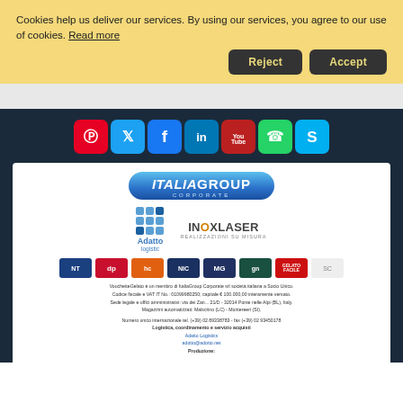Cookies help us deliver our services. By using our services, you agree to our use of cookies. Read more
[Figure (screenshot): Cookie consent banner with Reject and Accept buttons on yellow background, followed by social media icons row (Pinterest, Twitter, Facebook, LinkedIn, YouTube, WhatsApp, Skype), ItaliaGroup Corporate logo, sub-brand logos (Adatto Logistic, InoxLaser), partner logos row, and footer legal text with contact information.]
VouchetteGelato è un membro di ItaliaGroup Corporate srl società italiana a Socio Unico. Codice fiscale e VAT IT No.: 01099980250; capitale € 100.000,00 interamente versato. Sede legale e uffici amministrativi: via dei Zan... 21/D - 32014 Ponte nelle Alpi (BL), Italy. Magazzini automatizzati: Malscrino (LC) - Montereeri (SI).
Numero unico internazionale tel. (+39) 02 89338783 - fax (+39) 02 93450178
Logistica, coordinamento e servizio acquisti
Adatto Logistics
adotto@adotto.net
Produzione: